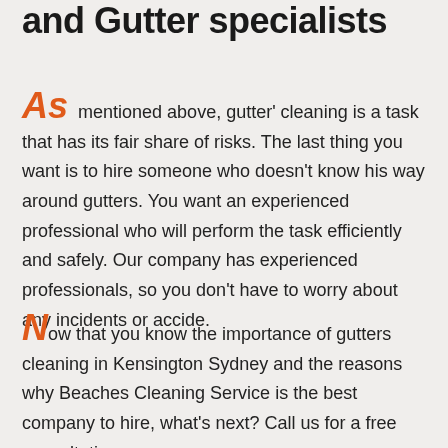and Gutter specialists
As mentioned above, gutter' cleaning is a task that has its fair share of risks. The last thing you want is to hire someone who doesn't know his way around gutters. You want an experienced professional who will perform the task efficiently and safely. Our company has experienced professionals, so you don't have to worry about any incidents or accide.
Now that you know the importance of gutters cleaning in Kensington Sydney and the reasons why Beaches Cleaning Service is the best company to hire, what's next? Call us for a free consultation.